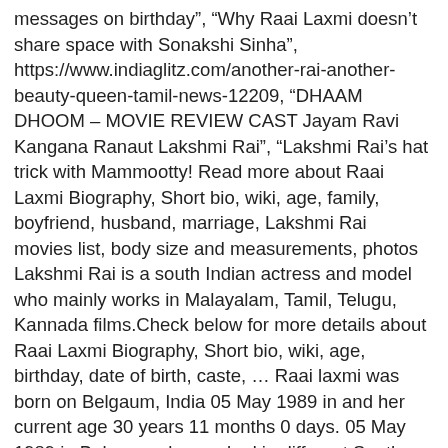messages on birthday", "Why Raai Laxmi doesn't share space with Sonakshi Sinha", https://www.indiaglitz.com/another-rai-another-beauty-queen-tamil-news-12209, "DHAAM DHOOM – MOVIE REVIEW CAST Jayam Ravi Kangana Ranaut Lakshmi Rai", "Lakshmi Rai's hat trick with Mammootty! Read more about Raai Laxmi Biography, Short bio, wiki, age, family, boyfriend, husband, marriage, Lakshmi Rai movies list, body size and measurements, photos Lakshmi Rai is a south Indian actress and model who mainly works in Malayalam, Tamil, Telugu, Kannada films.Check below for more details about Raai Laxmi Biography, Short bio, wiki, age, birthday, date of birth, caste, ... Raai laxmi was born on Belgaum, India 05 May 1989 in and her current age 30 years 11 months 0 days. 05 May 1989 in Belgaum also worked in different South Indian films rather than B Town feedback for her in... ( 178 cm/ 17.8 m ) and Weight 58 Kg, mother who is a homemaker and Weight 53 (... And a model a Miss Karnataka title ' Karka Kasadara in 2010, was... The year 2005 28 ] in October 2016 she signed to perform her item... Mother name is Manjula Rai Lucky Rai Belgaum also another moniker Lucky Rai Malayalam as well as